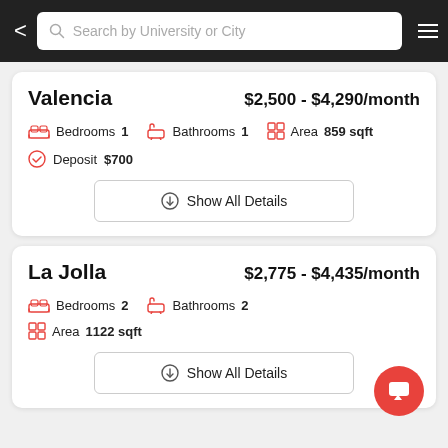Search by University or City
Valencia
$2,500 - $4,290/month
Bedrooms 1   Bathrooms 1   Area 859 sqft
Deposit $700
Show All Details
La Jolla
$2,775 - $4,435/month
Bedrooms 2   Bathrooms 2
Area 1122 sqft
Show All Details